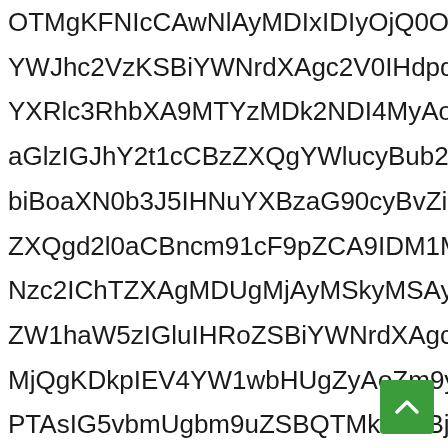OTMgKFNIcCAwNlAyMDIxIDIyOjQ0OjUzRQ6zMTA
YWJhc2VzKSBiYWNrdXAgc2V0IHdpdGggZ3JvdXBfa
YXRlc3RhbXA9MTYzMDk2NDI4MyAoU2VwIDA2VwIDA2ID
aGlzIGJhY2t1cCBzZXQgYWlucyBub24tZW1wdHkgYmF
biBoaXN0b3J5IHNuYXBzaG90cyBvZiBpbmNyZW1lbnRh
ZXQgd2l0aCBncm91cF9pZCA9IDM1MCBiZWluZyBiYWNlZA
Nzc2IChTZXAgMDUgMjAyMSkyMSAyMTogMjAyMSkyMTo
ZW1haW5zIGluIHRoZSBiYWNrdXAgc2V0IHdpdGggaWQ
MjQgKDkpIEV4YW1wbHUgZyAoZm9yIGRhdGFiYXNlIG
PTAsIG5vbmUgbm9uZSBQTMkzYTBjZWwgZGF0YWJhc1h
IDIyOjQ4OjEwKQozMTA0LjAyNCAoU2VwIDI0IChBIGtgXhhbWlu
c2V0IHdpdGggZ3JvdXBfaWQgPSA5MCBiZWluZyBiYWNldQ
ODY1OSAoSXVnIDI1IDIwMjEgMjI6MjEgODQ2MTkpCjM
ZXRhYmFzZXMpIGJhY2t1cCBzZXQgd2l0aCBncm91cF9pZCA9IDkxc
IGRhdGFiYXNlcyBiZWluZyBiYWNrZWQgdXAgPSBNVFk
IEV4YW1wbHUgZyAoZm9yIGRhdGFiYXNlIGljeWJlcmphM
bmNlIFBTVEhOT0EyNTYgbmQgZGF0YWJhc2VzIGJlaW5ZTPTM
[Figure (other): Green scroll-to-top button with white upward chevron arrow, positioned in bottom-right area]